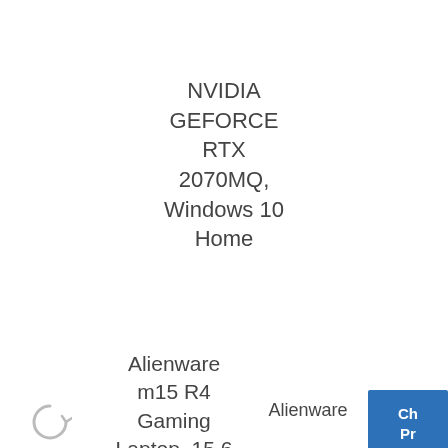NVIDIA GEFORCE RTX 2070MQ, Windows 10 Home
Alienware m15 R4 Gaming Laptop, 15.6 inch Full HD (FHD) - Intel Core i7-10870H, 16GB DDR4 RAM, 512GB SSD, NVIDIA GeForce RTX 3060
Alienware
Ch Pr